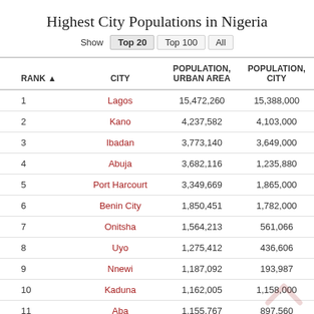Highest City Populations in Nigeria
Show  Top 20  Top 100  All
| RANK ▲ | CITY | POPULATION, URBAN AREA | POPULATION, CITY |
| --- | --- | --- | --- |
| 1 | Lagos | 15,472,260 | 15,388,000 |
| 2 | Kano | 4,237,582 | 4,103,000 |
| 3 | Ibadan | 3,773,140 | 3,649,000 |
| 4 | Abuja | 3,682,116 | 1,235,880 |
| 5 | Port Harcourt | 3,349,669 | 1,865,000 |
| 6 | Benin City | 1,850,451 | 1,782,000 |
| 7 | Onitsha | 1,564,213 | 561,066 |
| 8 | Uyo | 1,275,412 | 436,606 |
| 9 | Nnewi | 1,187,092 | 193,987 |
| 10 | Kaduna | 1,162,005 | 1,158,000 |
| 11 | Aba | 1,155,767 | 897,560 |